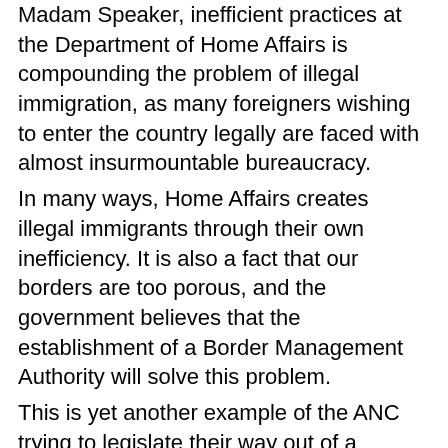Madam Speaker, inefficient practices at the Department of Home Affairs is compounding the problem of illegal immigration, as many foreigners wishing to enter the country legally are faced with almost insurmountable bureaucracy.
In many ways, Home Affairs creates illegal immigrants through their own inefficiency. It is also a fact that our borders are too porous, and the government believes that the establishment of a Border Management Authority will solve this problem.
This is yet another example of the ANC trying to legislate their way out of a problem, rather than fixing the existing mechanisms. Not only is the current proposal unconstitutional, it is highly impractical and will only lead to a waste of state funds.
Xenophobia is irrational and immoral and should be rejected by each and every South African. Mutual co-existence and individual legal freedom of movement should be protected as enshrined in our Constitution.